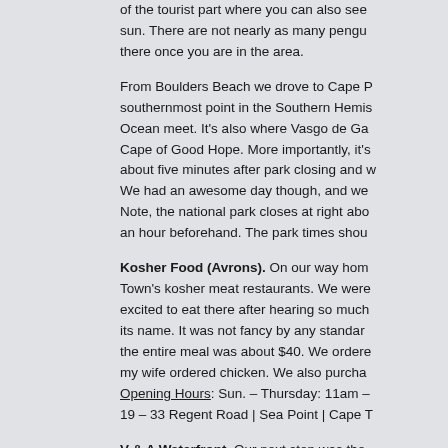of the tourist part where you can also see sun. There are not nearly as many pengu there once you are in the area.
From Boulders Beach we drove to Cape P southernmost point in the Southern Hemis Ocean meet. It's also where Vasgo de Ga Cape of Good Hope. More importantly, it's about five minutes after park closing and w We had an awesome day though, and we Note, the national park closes at right abo an hour beforehand. The park times shou
Kosher Food (Avrons). On our way hom Town's kosher meat restaurants. We were excited to eat there after hearing so much its name. It was not fancy by any standar the entire meal was about $40. We ordere my wife ordered chicken. We also purcha Opening Hours: Sun. – Thursday: 11am – 19 – 33 Regent Road | Sea Point | Cape T
V & A Waterfront. Our next stop was the it is called, is filled with shops, restaurants through, but there really wasn't anything to checked it off our list though. We then brie